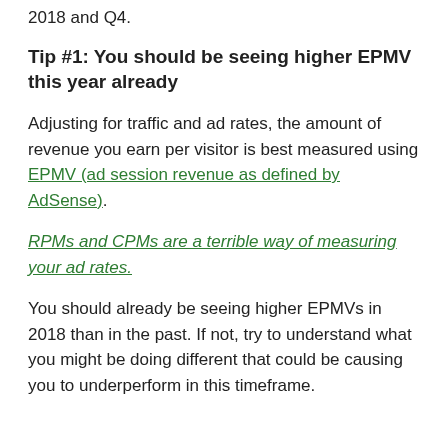2018 and Q4.
Tip #1: You should be seeing higher EPMV this year already
Adjusting for traffic and ad rates, the amount of revenue you earn per visitor is best measured using EPMV (ad session revenue as defined by AdSense).
RPMs and CPMs are a terrible way of measuring your ad rates.
You should already be seeing higher EPMVs in 2018 than in the past. If not, try to understand what you might be doing different that could be causing you to underperform in this timeframe.